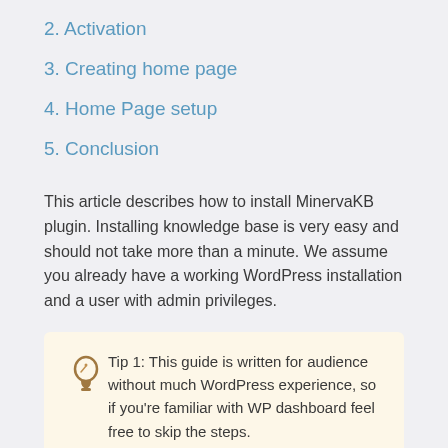2. Activation
3. Creating home page
4. Home Page setup
5. Conclusion
This article describes how to install MinervaKB plugin. Installing knowledge base is very easy and should not take more than a minute. We assume you already have a working WordPress installation and a user with admin privileges.
Tip 1: This guide is written for audience without much WordPress experience, so if you're familiar with WP dashboard feel free to skip the steps.